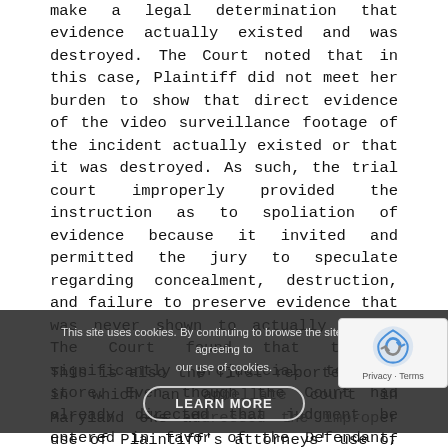make a legal determination that evidence actually existed and was destroyed. The Court noted that in this case, Plaintiff did not meet her burden to show that direct evidence of the video surveillance footage of the incident actually existed or that it was destroyed. As such, the trial court improperly provided the instruction as to spoliation of evidence because it invited and permitted the jury to speculate regarding concealment, destruction, and failure to preserve evidence that was never shown to actually exist. The Court found that to be significantly prejudicial to the store. Even though the Court had already directed that judgment be entered in favor of the Defendant, the Court said it would have still reversed the judgment based on the spoliation instruction and ordered a new trial.
This is also the first reported case in which an appellate court in Maryland addressed the improper use of Plaintiff's attorneys' use of the Reptile Theory in closing